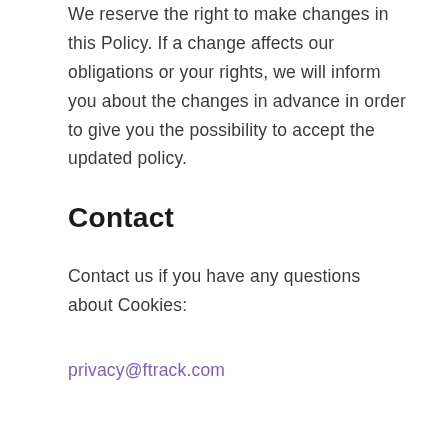We reserve the right to make changes in this Policy. If a change affects our obligations or your rights, we will inform you about the changes in advance in order to give you the possibility to accept the updated policy.
Contact
Contact us if you have any questions about Cookies:
privacy@ftrack.com